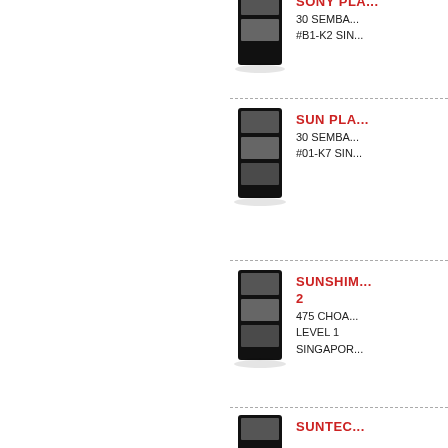[Figure (photo): Product kiosk stand image for SONY PLAZA entry]
SONY PLA...
30 SEMBA...
#B1-K2 SIN...
[Figure (photo): Product kiosk stand image for SUN PLAZA entry]
SUN PLA...
30 SEMBA...
#01-K7 SIN...
[Figure (photo): Product kiosk stand image for SUNSHINE entry]
SUNSHINE...
2
475 CHOA...
LEVEL 1
SINGAPOR...
[Figure (photo): Product kiosk stand image for SUNTEC entry]
SUNTEC...